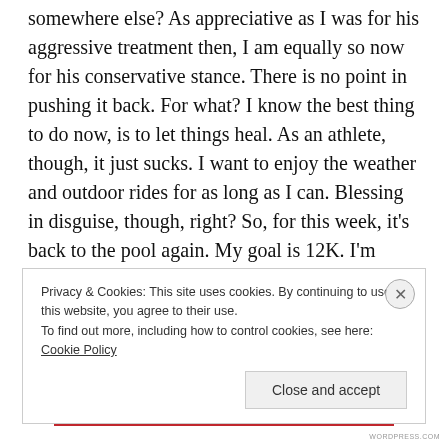somewhere else?  As appreciative as I was for his aggressive treatment then, I am equally so now for his conservative stance.  There is no point in pushing it back.  For what?  I know the best thing to do now, is to let things heal.  As an athlete, though, it just sucks.  I want to enjoy the weather and outdoor rides for as long as I can.  Blessing in disguise, though, right?  So, for this week, it's back to the pool again.  My goal is 12K.  I'm pretty sure I've never done that before.
On the pregnancy front, I'm still feeling superhuman.
Privacy & Cookies: This site uses cookies. By continuing to use this website, you agree to their use.
To find out more, including how to control cookies, see here: Cookie Policy